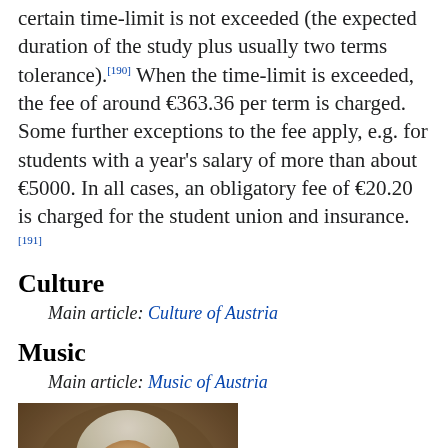certain time-limit is not exceeded (the expected duration of the study plus usually two terms tolerance).[190] When the time-limit is exceeded, the fee of around €363.36 per term is charged. Some further exceptions to the fee apply, e.g. for students with a year's salary of more than about €5000. In all cases, an obligatory fee of €20.20 is charged for the student union and insurance.[191]
Culture
Main article: Culture of Austria
Music
Main article: Music of Austria
[Figure (photo): Portrait painting of a historical figure (likely Wolfgang Amadeus Mozart), showing a man with white powdered wig, looking slightly to the side, painted in classical oil portrait style.]